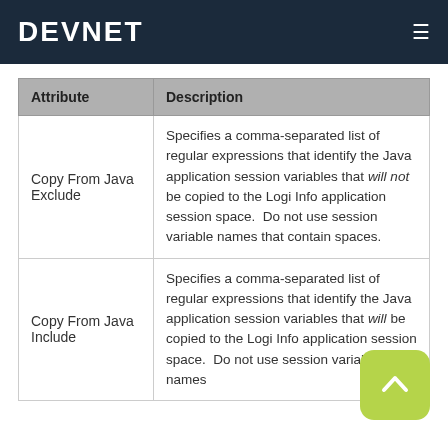DEVNET
| Attribute | Description |
| --- | --- |
| Copy From Java Exclude | Specifies a comma-separated list of regular expressions that identify the Java application session variables that will not be copied to the Logi Info application session space.  Do not use session variable names that contain spaces. |
| Copy From Java Include | Specifies a comma-separated list of regular expressions that identify the Java application session variables that will be copied to the Logi Info application session space.  Do not use session variable names |